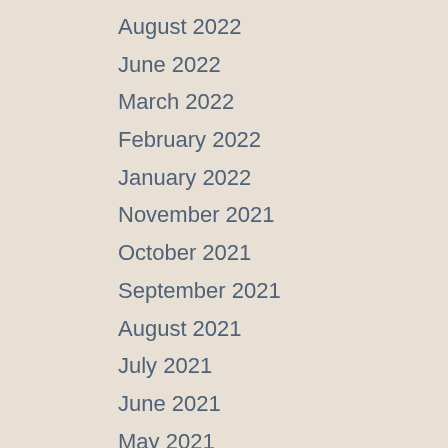August 2022
June 2022
March 2022
February 2022
January 2022
November 2021
October 2021
September 2021
August 2021
July 2021
June 2021
May 2021
April 2021